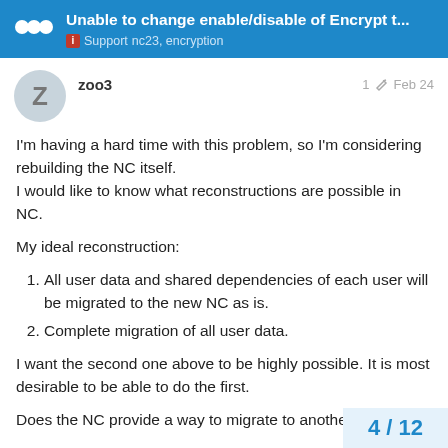Unable to change enable/disable of Encrypt t... | Support  nc23, encryption
zoo3
1  Feb 24
I'm having a hard time with this problem, so I'm considering rebuilding the NC itself.
I would like to know what reconstructions are possible in NC.
My ideal reconstruction:
All user data and shared dependencies of each user will be migrated to the new NC as is.
Complete migration of all user data.
I want the second one above to be highly possible. It is most desirable to be able to do the first.
Does the NC provide a way to migrate to another NC?
4 / 12